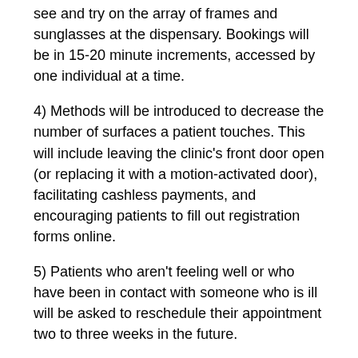see and try on the array of frames and sunglasses at the dispensary. Bookings will be in 15-20 minute increments, accessed by one individual at a time.
4) Methods will be introduced to decrease the number of surfaces a patient touches. This will include leaving the clinic's front door open (or replacing it with a motion-activated door), facilitating cashless payments, and encouraging patients to fill out registration forms online.
5) Patients who aren't feeling well or who have been in contact with someone who is ill will be asked to reschedule their appointment two to three weeks in the future.
6) Measuring one's temperature at the entrance will become commonplace — this goes for both staff and patients. Though not the most reliable screening tool, as those who are asymptomatic can still spread the virus, it will identify some people who aren't well.  Anyone registering 100.4° or above will be sent home.
7) There will be more time between appointments, to allow the staff to thoroughly clean and disinfect before and after each